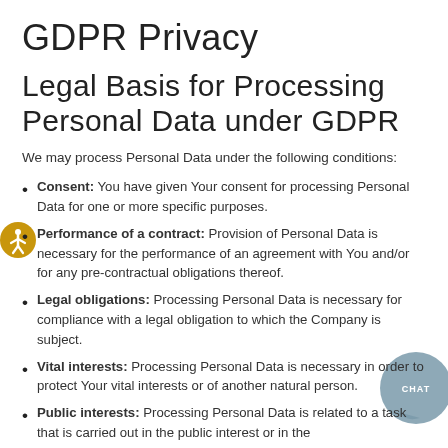GDPR Privacy
Legal Basis for Processing Personal Data under GDPR
We may process Personal Data under the following conditions:
Consent: You have given Your consent for processing Personal Data for one or more specific purposes.
Performance of a contract: Provision of Personal Data is necessary for the performance of an agreement with You and/or for any pre-contractual obligations thereof.
Legal obligations: Processing Personal Data is necessary for compliance with a legal obligation to which the Company is subject.
Vital interests: Processing Personal Data is necessary in order to protect Your vital interests or of another natural person.
Public interests: Processing Personal Data is related to a task that is carried out in the public interest or in the exercise of official authority vested in the Company.